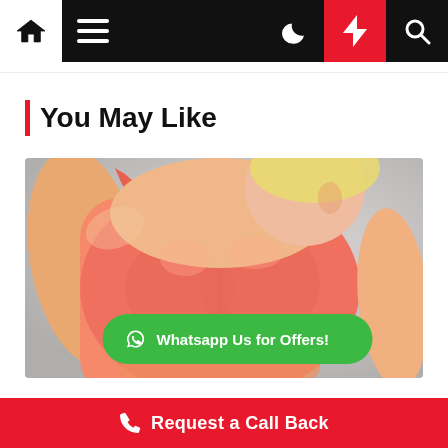Navigation bar with home, menu, dark mode, lightning, and search icons
You May Like
[Figure (photo): Woman in pink/salmon sports bra looking downward, fitness/health related photo]
Whatsapp Us for Offers!
Request a Call Back